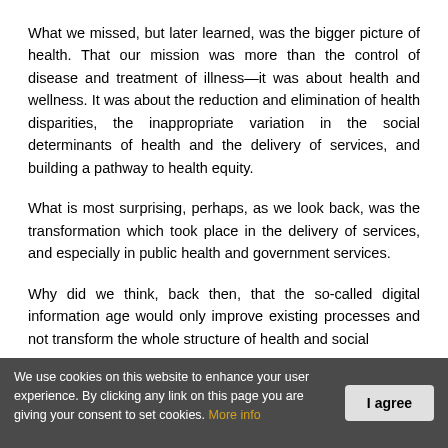What we missed, but later learned, was the bigger picture of health. That our mission was more than the control of disease and treatment of illness—it was about health and wellness. It was about the reduction and elimination of health disparities, the inappropriate variation in the social determinants of health and the delivery of services, and building a pathway to health equity.
What is most surprising, perhaps, as we look back, was the transformation which took place in the delivery of services, and especially in public health and government services.
Why did we think, back then, that the so-called digital information age would only improve existing processes and not transform the whole structure of health and social
We use cookies on this website to enhance your user experience. By clicking any link on this page you are giving your consent to set cookies. More info